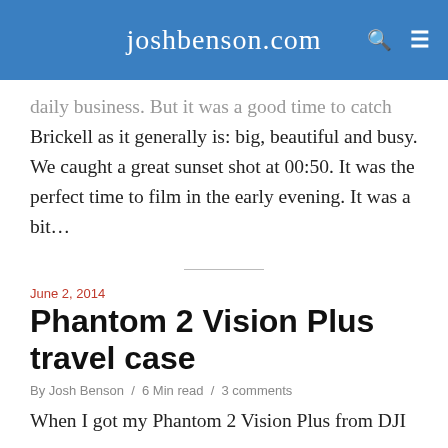joshbenson.com
daily business. But it was a good time to catch Brickell as it generally is: big, beautiful and busy. We caught a great sunset shot at 00:50. It was the perfect time to film in the early evening. It was a bit…
June 2, 2014
Phantom 2 Vision Plus travel case
By Josh Benson / 6 Min read / 3 comments
When I got my Phantom 2 Vision Plus from DJI